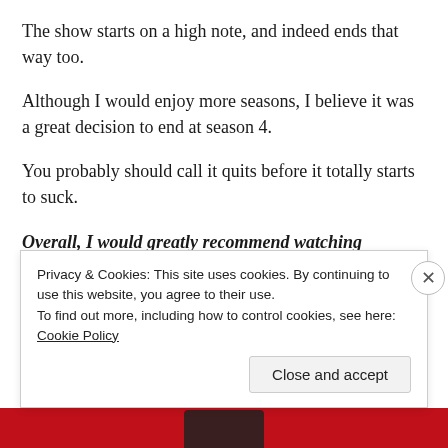The show starts on a high note, and indeed ends that way too.
Although I would enjoy more seasons, I believe it was a great decision to end at season 4.
You probably should call it quits before it totally starts to suck.
Overall, I would greatly recommend watching
Privacy & Cookies: This site uses cookies. By continuing to use this website, you agree to their use.
To find out more, including how to control cookies, see here: Cookie Policy